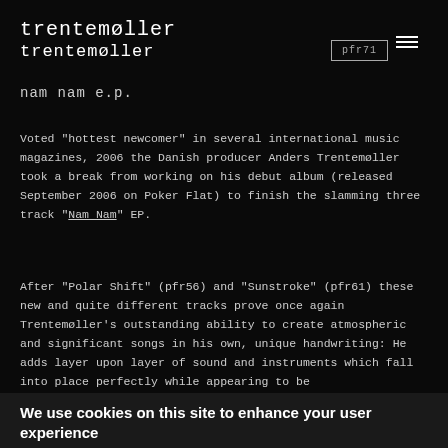trentemøller
trentemøller
nam nam e.p.
Voted "hottest newcomer" in several international music magazines, 2006 the Danish producer Anders Trentemøller took a break from working on his debut album (released September 2006 on Poker Flat) to finish the slamming three track "Nam Nam" EP.
After "Polar Shift" (pfr56) and "Sunstroke" (pfr61) these new and quite different tracks prove once again Trentemøller's outstanding ability to create atmospheric and significant songs in his own, unique handwriting: He adds layer upon layer of sound and instruments which fall into place perfectly while appearing to be
We use cookies on this site to enhance your user experience